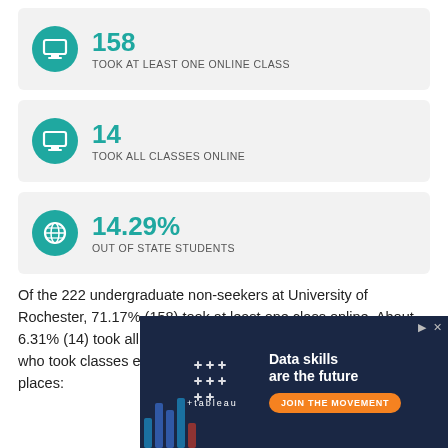[Figure (infographic): Teal circle icon with laptop symbol, stat: 158 TOOK AT LEAST ONE ONLINE CLASS]
[Figure (infographic): Teal circle icon with laptop symbol, stat: 14 TOOK ALL CLASSES ONLINE]
[Figure (infographic): Teal circle icon with globe symbol, stat: 14.29% OUT OF STATE STUDENTS]
Of the 222 undergraduate non-seekers at University of Rochester, 71.17% (158) took at least one class online. About 6.31% (14) took all of their courses online. Those non-seekers who took classes exclusively online were from the following places:
[Figure (screenshot): Tableau advertisement: Data skills are the future. JOIN THE MOVEMENT button. Dark blue background with bar chart graphic.]